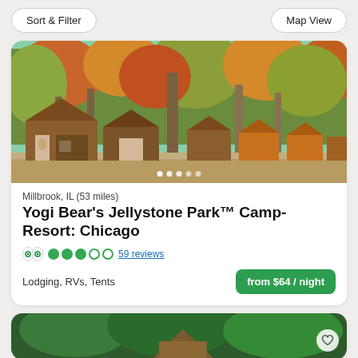Sort & Filter | Map View
[Figure (photo): Log cabins among autumn trees (orange, red, green foliage) at a campground]
Millbrook, IL (53 miles)
Yogi Bear's Jellystone Park™ Camp-Resort: Chicago
TripAdvisor logo, 3 out of 5 circles, 59 reviews
Lodging, RVs, Tents
from $64 / night
[Figure (photo): Partial view of a second campground listing with green trees]